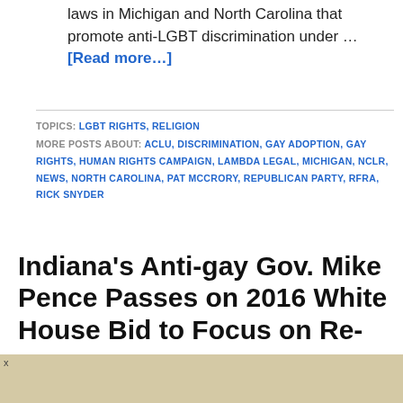laws in Michigan and North Carolina that promote anti-LGBT discrimination under … [Read more…]
TOPICS: LGBT RIGHTS, RELIGION
MORE POSTS ABOUT: ACLU, DISCRIMINATION, GAY ADOPTION, GAY RIGHTS, HUMAN RIGHTS CAMPAIGN, LAMBDA LEGAL, MICHIGAN, NCLR, NEWS, NORTH CAROLINA, PAT MCCRORY, REPUBLICAN PARTY, RFRA, RICK SNYDER
Indiana's Anti-gay Gov. Mike Pence Passes on 2016 White House Bid to Focus on Re-